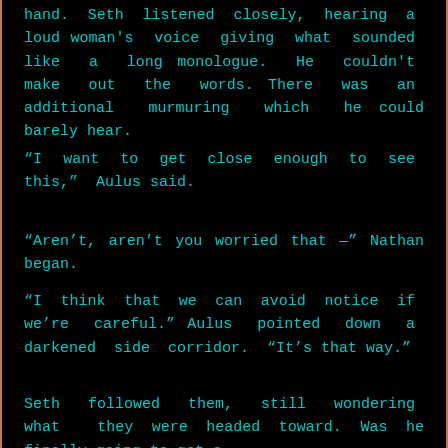hand. Seth listened closely, hearing a loud woman's voice giving what sounded like a long monologue. He couldn't make out the words. There was an additional murmuring which he could barely hear.
“I want to get close enough to see this,” Aulus said.
“Aren’t, aren’t you worried that —” Nathan began.
“I think that we can avoid notice if we’re careful.” Aulus pointed down a darkened side corridor. “It’s that way.”
Seth followed them, still wondering what they were headed toward. Was he finally going to get a